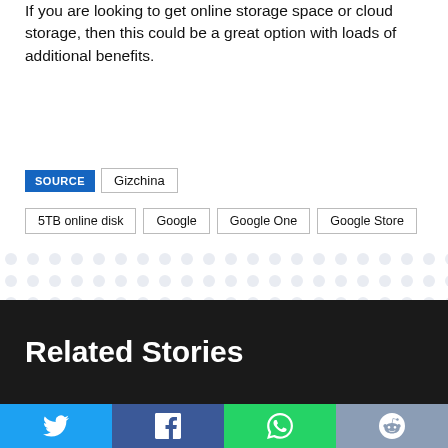If you are looking to get online storage space or cloud storage, then this could be a great option with loads of additional benefits.
SOURCE | Gizchina
5TB online disk | Google | Google One | Google Store
Related Stories
[Figure (infographic): Social sharing bar with Twitter, Facebook, WhatsApp, and Reddit buttons]